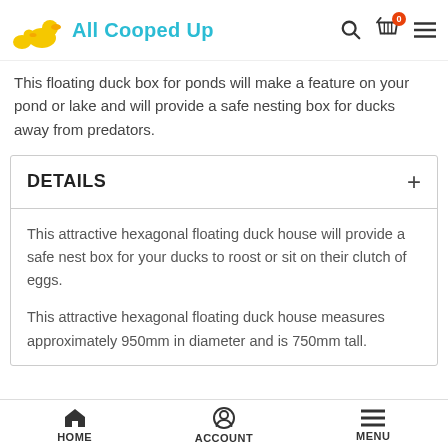All Cooped Up
This floating duck box for ponds will make a feature on your pond or lake and will provide a safe nesting box for ducks away from predators.
DETAILS
This attractive hexagonal floating duck house will provide a safe nest box for your ducks to roost or sit on their clutch of eggs.

This attractive hexagonal floating duck house measures approximately 950mm in diameter and is 750mm tall.
HOME   ACCOUNT   MENU